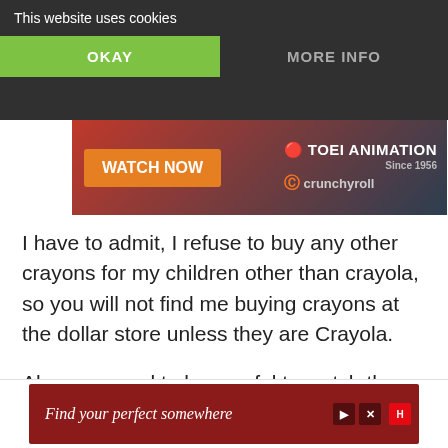This website uses cookies
OKAY
MORE INFO
[Figure (screenshot): Toei Animation / Crunchyroll advertisement banner with WATCH NOW button]
I have to admit, I refuse to buy any other crayons for my children other than crayola, so you will not find me buying crayons at the dollar store unless they are Crayola.
Also you need to be careful to watch the prices because Walmart usually has really good prices during their back to school promotions.
[Figure (screenshot): Find your perfect somewhere advertisement banner at bottom of page]